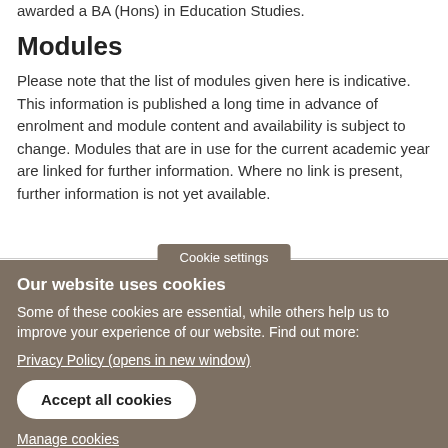awarded a BA (Hons) in Education Studies.
Modules
Please note that the list of modules given here is indicative. This information is published a long time in advance of enrolment and module content and availability is subject to change. Modules that are in use for the current academic year are linked for further information. Where no link is present, further information is not yet available.
Cookie settings
Our website uses cookies
Some of these cookies are essential, while others help us to improve your experience of our website. Find out more:
Privacy Policy (opens in new window)
Accept all cookies
Manage cookies